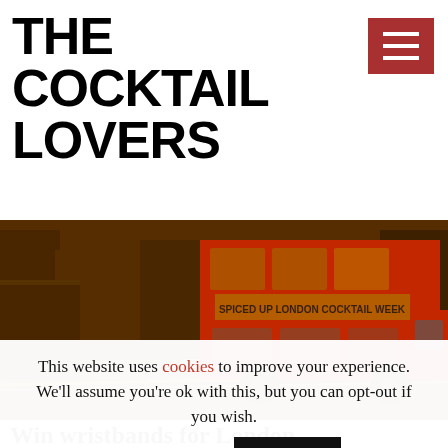THE COCKTAIL LOVERS
[Figure (screenshot): Red double-decker London bus on a city street at night with motion blur light trails. The bus displays 'SPICED UP LONDON COCKTAIL WEEK' on its side.]
Win wristbands for London
This website uses cookies to improve your experience. We'll assume you're ok with this, but you can opt-out if you wish. Cookie settings ACCEPT